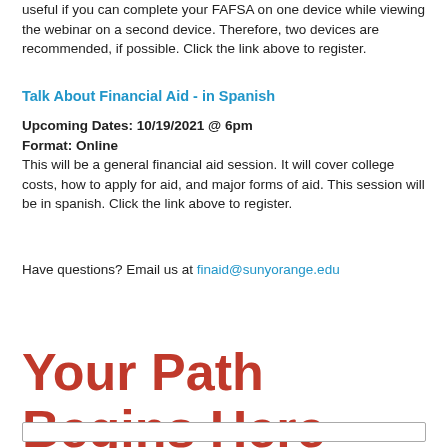useful if you can complete your FAFSA on one device while viewing the webinar on a second device. Therefore, two devices are recommended, if possible. Click the link above to register.
Talk About Financial Aid - in Spanish
Upcoming Dates:  10/19/2021 @ 6pm
Format: Online
This will be a general financial aid session.  It will cover college costs, how to apply for aid, and major forms of aid.  This session will be in spanish. Click the link above to register.
Have questions?  Email us at finaid@sunyorange.edu
Your Path Begins Here